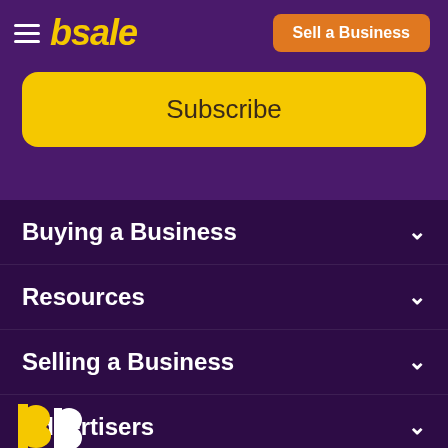bsale — Sell a Business
Subscribe
Buying a Business
Resources
Selling a Business
Advertisers
[Figure (logo): bsale logo bottom partial]